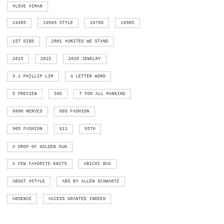#LOVE #IMAN
1940S
1960S STYLE
1970S
1980S
1ST DIBS
2001 #UNITED WE STAND
2014
2015
2028 JEWELRY
3.1 PHILLIP LIM
4 LETTER WORD
5 PREVIEW
50S
7 FOR ALL MANKIND
8000 NERVES
80S FASHION
90S FASHION
911
95TH
A DROP OF GOLDEN SUN
A FEW FAVORITE KNITS
ABICHI BAG
ABOUT #STYLE
ABS BY ALLEN SCHWARTZ
ABSENCE
ACCESS GRANTED INDEED